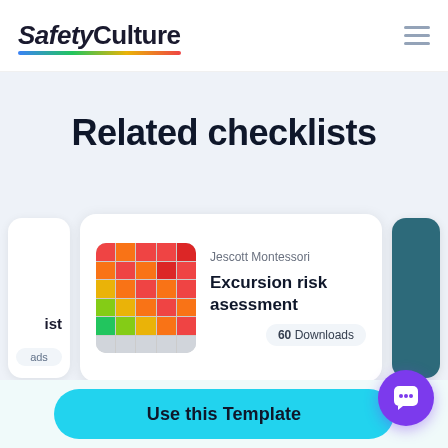[Figure (screenshot): SafetyCulture logo with rainbow underline and hamburger menu icon]
Related checklists
[Figure (screenshot): Carousel card: Jescott Montessori Excursion risk asessment with heatmap thumbnail, 60 Downloads badge. Partial cards visible on left and right.]
[Figure (other): Pagination dots: 7 dots, first one active (dark purple), rest gray]
[Figure (screenshot): Use this Template cyan button at bottom with purple chatbot icon button on right]